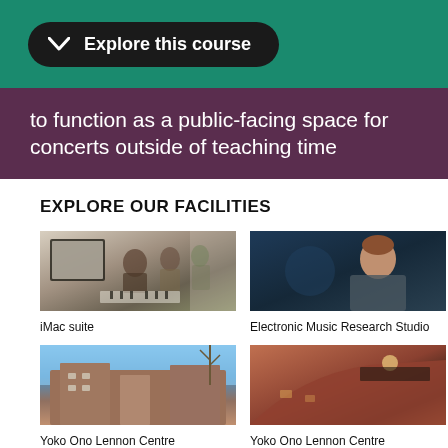Explore this course
to function as a public-facing space for concerts outside of teaching time
EXPLORE OUR FACILITIES
[Figure (photo): Students working at computers in an iMac suite with a piano visible in the background]
iMac suite
[Figure (photo): Young man in a dark studio environment, Electronic Music Research Studio]
Electronic Music Research Studio
[Figure (photo): Exterior of Yoko Ono Lennon Centre building against blue sky]
Yoko Ono Lennon Centre
[Figure (photo): Exterior night/dusk view of Yoko Ono Lennon Centre with illuminated sign]
Yoko Ono Lennon Centre
[Figure (photo): Partially visible bottom image on the left]
[Figure (photo): Partially visible bottom image on the right]